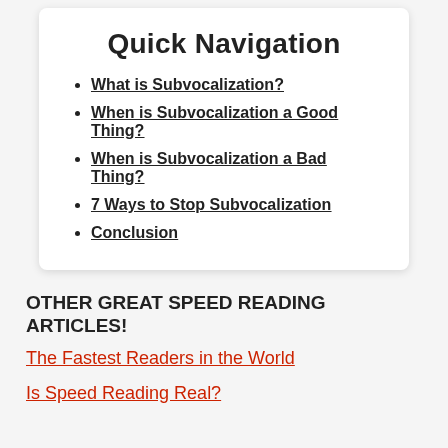Quick Navigation
What is Subvocalization?
When is Subvocalization a Good Thing?
When is Subvocalization a Bad Thing?
7 Ways to Stop Subvocalization
Conclusion
OTHER GREAT SPEED READING ARTICLES!
The Fastest Readers in the World
Is Speed Reading Real?